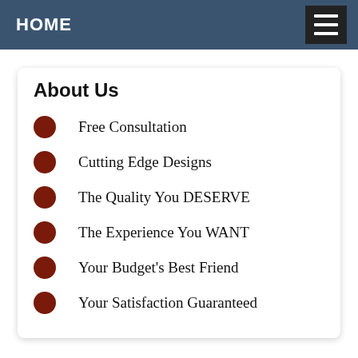HOME
About Us
Free Consultation
Cutting Edge Designs
The Quality You DESERVE
The Experience You WANT
Your Budget's Best Friend
Your Satisfaction Guaranteed
Select Menu
© 2001 - 2022 Freelance Web Designs
275 Baylis Road, Qualicum Beach
BC V9K 2A7 - All rights reserved.